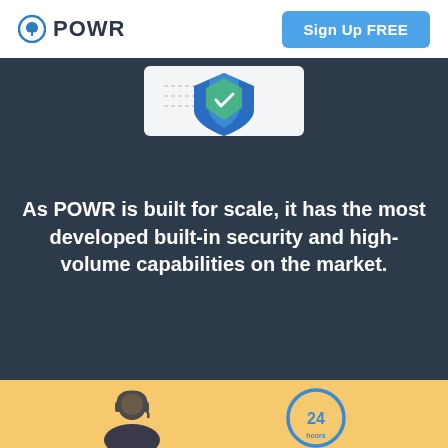POWR | Sign Up FREE
[Figure (illustration): Shield icon with blue and green colors centered on a white card, on a dark navy background]
As POWR is built for scale, it has the most developed built-in security and high-volume capabilities on the market.
[Figure (illustration): Yellow/gold background section with two partially visible icons at the bottom: a person/support agent and a 24-hour clock symbol]